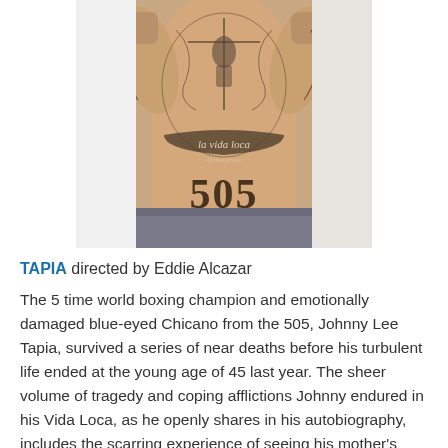[Figure (photo): A man with extensive tattoos covering his chest and abdomen, posing with fists raised. Visible tattoos include 'la vida loca' and '505' on his torso.]
TAPIA directed by Eddie Alcazar
The 5 time world boxing champion and emotionally damaged blue-eyed Chicano from the 505, Johnny Lee Tapia, survived a series of near deaths before his turbulent life ended at the young age of 45 last year. The sheer volume of tragedy and coping afflictions Johnny endured in his Vida Loca, as he openly shares in his autobiography, includes the scarring experience of seeing his mother's